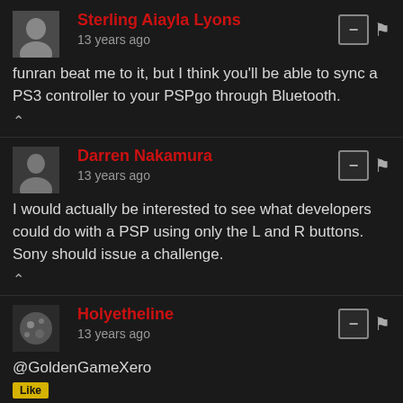Sterling Aiayla Lyons
13 years ago
funran beat me to it, but I think you'll be able to sync a PS3 controller to your PSPgo through Bluetooth.
Darren Nakamura
13 years ago
I would actually be interested to see what developers could do with a PSP using only the L and R buttons. Sony should issue a challenge.
Holyetheline
13 years ago
@GoldenGameXero

Whip what out now?